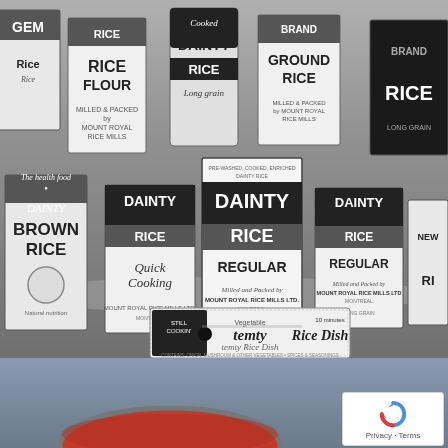[Figure (photo): Black and white photograph showing an array of vintage rice product boxes arranged on a surface. Visible brands include 'Dainty Rice' (Regular and Quick Cooking variants), 'Dainty Brown Rice', 'Ground Rice', 'Rice Flour', 'Cooked Dainty Rice Long Grain' (in a cylindrical can), and a 'Temty Rice Dish' box. The boxes are manufactured by Mount Royal Rice Mills. Multiple box sizes and styles are displayed. A second partial photo at the bottom shows a round metallic/red object.]
[Figure (logo): reCAPTCHA badge with rotating arrows icon, showing 'Privacy · Terms' text below.]